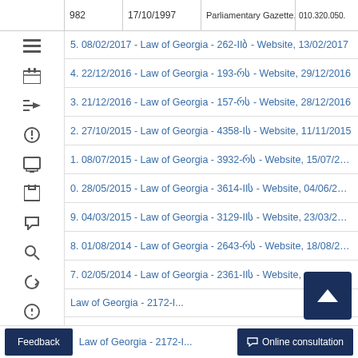|  | 982 | 17/10/1997 | Parliamentary Gazette, 44, 11/11/... | 010.320.050. |
| --- | --- | --- | --- | --- |
5. 08/02/2017 - Law of Georgia - 262-IIb - Website, 13/02/2017
4. 22/12/2016 - Law of Georgia - 193-რს - Website, 29/12/2016
3. 21/12/2016 - Law of Georgia - 157-რს - Website, 28/12/2016
2. 27/10/2015 - Law of Georgia - 4358-Iს - Website, 11/11/2015
1. 08/07/2015 - Law of Georgia - 3932-რს - Website, 15/07/2015
0. 28/05/2015 - Law of Georgia - 3614-IIს - Website, 04/06/2015
9. 04/03/2015 - Law of Georgia - 3129-IIს - Website, 23/03/2015
8. 01/08/2014 - Law of Georgia - 2643-რს - Website, 18/08/2014
7. 02/05/2014 - Law of Georgia - 2361-IIს - Website, ...2014
Law of Georgia - 2172-I...
05/03/2014 - Law of Georgia - 1973-IIს - Website, 10/03/201...